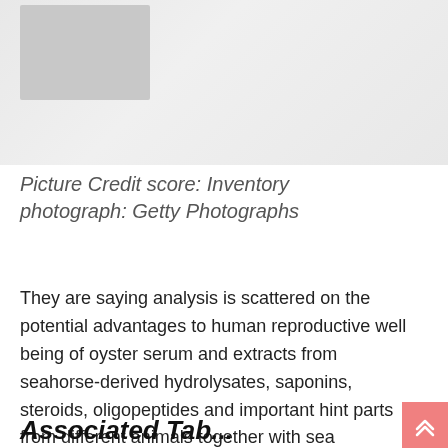[Figure (photo): A faded/washed-out photograph, partially visible at the top of the page. Shows indistinct imagery with lighter tones and a darker rectangular element in the upper left area.]
Picture Credit score: Inventory photograph: Getty Photographs
They are saying analysis is scattered on the potential advantages to human reproductive well being of oyster serum and extracts from seahorse-derived hydrolysates, saponins, steroids, oligopeptides and important hint parts from different animals together with sea cucumber and spoon worms.
Associated Tab...